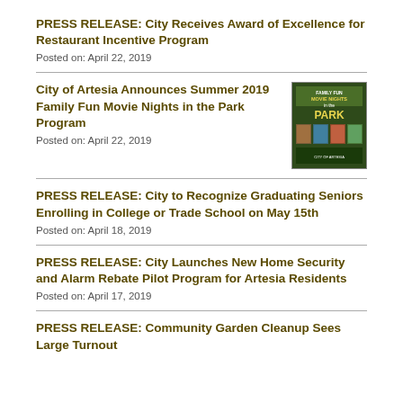PRESS RELEASE: City Receives Award of Excellence for Restaurant Incentive Program
Posted on: April 22, 2019
City of Artesia Announces Summer 2019 Family Fun Movie Nights in the Park Program
Posted on: April 22, 2019
[Figure (photo): Poster for Family Fun Movie Nights in the Park Program]
PRESS RELEASE: City to Recognize Graduating Seniors Enrolling in College or Trade School on May 15th
Posted on: April 18, 2019
PRESS RELEASE: City Launches New Home Security and Alarm Rebate Pilot Program for Artesia Residents
Posted on: April 17, 2019
PRESS RELEASE: Community Garden Cleanup Sees Large Turnout